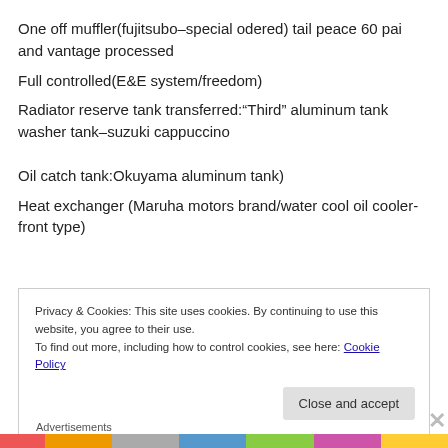One off muffler(fujitsubo–special odered) tail peace 60 pai and vantage processed
Full controlled(E&E system/freedom)
Radiator reserve tank transferred:"Third" aluminum tank washer tank–suzuki cappuccino
Oil catch tank:Okuyama aluminum tank)
Heat exchanger (Maruha motors brand/water cool oil cooler-front type)
Privacy & Cookies: This site uses cookies. By continuing to use this website, you agree to their use.
To find out more, including how to control cookies, see here: Cookie Policy
Close and accept
Advertisements